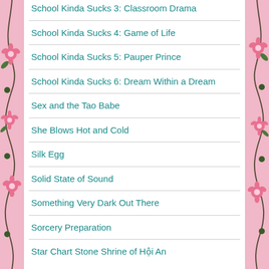School Kinda Sucks 3: Classroom Drama
School Kinda Sucks 4: Game of Life
School Kinda Sucks 5: Pauper Prince
School Kinda Sucks 6: Dream Within a Dream
Sex and the Tao Babe
She Blows Hot and Cold
Silk Egg
Solid State of Sound
Something Very Dark Out There
Sorcery Preparation
Star Chart Stone Shrine of Hội An